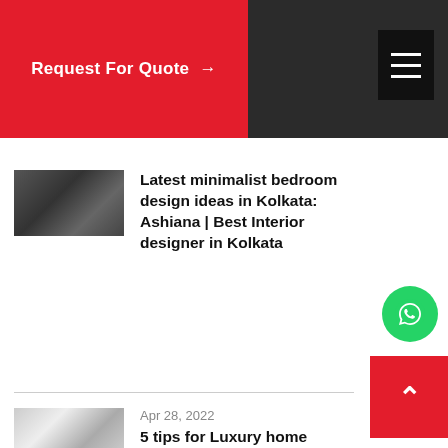Request For Quote →
Latest minimalist bedroom design ideas in Kolkata: Ashiana | Best Interior designer in Kolkata
Apr 28, 2022
5 tips for Luxury home interior in the budget: Best Interior designer in Kolkata
Apr 26, 2022